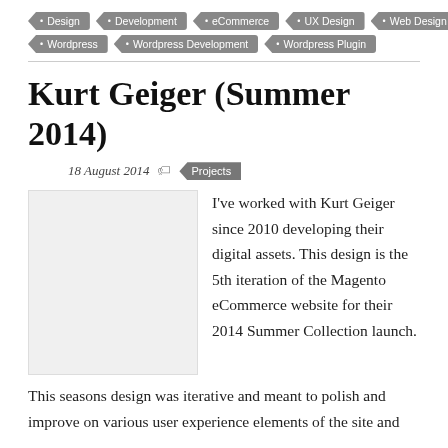Design
Development
eCommerce
UX Design
Web Design
Wordpress
Wordpress Development
Wordpress Plugin
Kurt Geiger (Summer 2014)
18 August 2014  Projects
[Figure (photo): Placeholder image thumbnail for Kurt Geiger project]
I've worked with Kurt Geiger since 2010 developing their digital assets. This design is the 5th iteration of the Magento eCommerce website for their 2014 Summer Collection launch. This seasons design was iterative and meant to polish and improve on various user experience elements of the site and